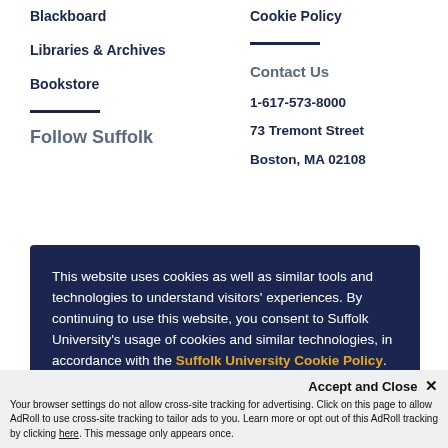Blackboard
Cookie Policy
Libraries & Archives
Bookstore
Contact Us
1-617-573-8000
73 Tremont Street
Boston, MA 02108
Follow Suffolk
This website uses cookies as well as similar tools and technologies to understand visitors' experiences. By continuing to use this website, you consent to Suffolk University's usage of cookies and similar technologies, in accordance with the Suffolk University Cookie Policy.
Close
Accept and Close ✕
Your browser settings do not allow cross-site tracking for advertising. Click on this page to allow AdRoll to use cross-site tracking to tailor ads to you. Learn more or opt out of this AdRoll tracking by clicking here. This message only appears once.